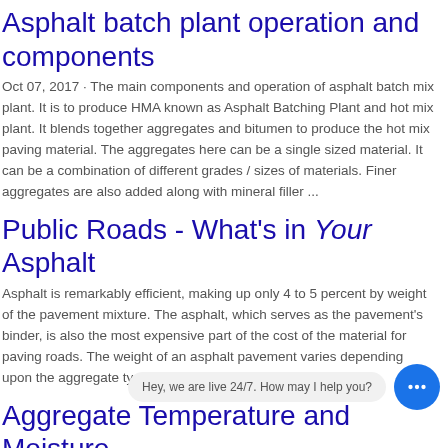Asphalt batch plant operation and components
Oct 07, 2017 · The main components and operation of asphalt batch mix plant. It is to produce HMA known as Asphalt Batching Plant and hot mix plant. It blends together aggregates and bitumen to produce the hot mix paving material. The aggregates here can be a single sized material. It can be a combination of different grades / sizes of materials. Finer aggregates are also added along with mineral filler ...
Public Roads - What's in Your Asphalt
Asphalt is remarkably efficient, making up only 4 to 5 percent by weight of the pavement mixture. The asphalt, which serves as the pavement's binder, is also the most expensive part of the cost of the material for paving roads. The weight of an asphalt pavement varies depending upon the aggregate type, the asphalt, and the air void content.
Aggregate Temperature and Moisture Prediction Fro...
ture and moisture during the drying operation under controllable asphalt...